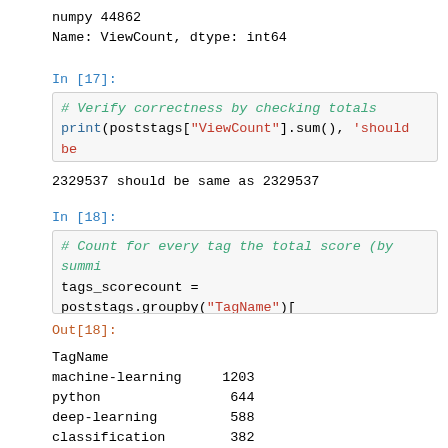numpy                    44862
Name: ViewCount, dtype: int64
In [17]:
# Verify correctness by checking totals
print(poststags["ViewCount"].sum(), 'should be
2329537 should be same as 2329537
In [18]:
# Count for every tag the total score (by summi
tags_scorecount = poststags.groupby("TagName")[
tags_scorecount.head(10)
Out[18]:
TagName
machine-learning     1203
python                644
deep-learning         588
classification        382
nlp                   380
neural-network        340
keras                 247
tensorflow            227